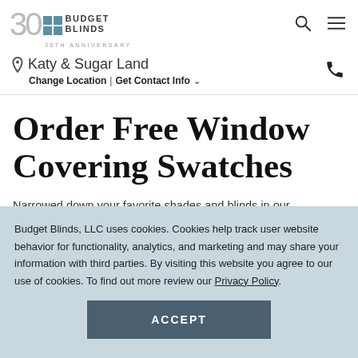Budget Blinds 30th Anniversary logo, search and menu icons
Katy & Sugar Land
Change Location | Get Contact Info
Order Free Window Covering Swatches
Narrowed down your favorite shades and blinds in our Showroom Series Collection? Still not sure and feel
Budget Blinds, LLC uses cookies. Cookies help track user website behavior for functionality, analytics, and marketing and may share your information with third parties. By visiting this website you agree to our use of cookies. To find out more review our Privacy Policy.
ACCEPT